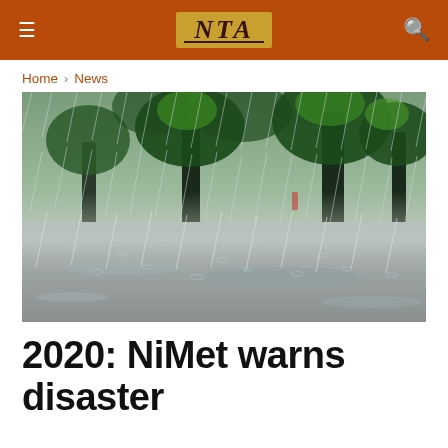≡  NTA  🔍
Home > News
[Figure (photo): Heavy rain falling on a flooded road with trees in the background, water splashing and mist from the downpour visible.]
2020: NiMet warns disaster